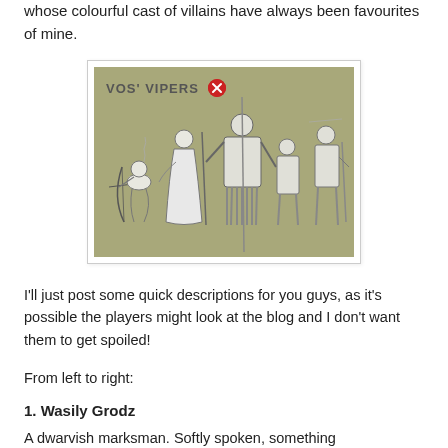whose colourful cast of villains have always been favourites of mine.
[Figure (illustration): An illustration labeled 'VOS' VIPERS' with a red circular badge icon, showing a group of five fantasy characters in line-art style on a sage-green background: a kneeling dwarf archer with a bow, a robed mage, a large armored warrior, a smaller armored figure, and a ranger with a sword.]
I'll just post some quick descriptions for you guys, as it's possible the players might look at the blog and I don't want them to get spoiled!
From left to right:
1. Wasily Grodz
A dwarvish marksman. Softly spoken, something